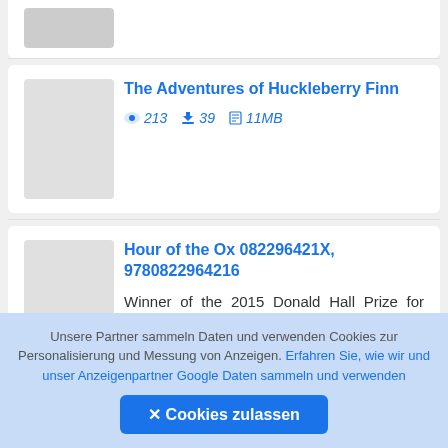[Figure (other): Top card with a gray book cover image placeholder]
The Adventures of Huckleberry Finn
👁 213  ⬇ 39  🗋 11MB
Hour of the Ox 082296421X, 9780822964216
Winner of the 2015 Donald Hall Prize for Poetry Hour of the Ox received the 2015 A Donald Hall Prize for Poetry, selec
Unsere Partner sammeln Daten und verwenden Cookies zur Personalisierung und Messung von Anzeigen. Erfahren Sie, wie wir und unser Anzeigenpartner Google Daten sammeln und verwenden
✕ Cookies zulassen